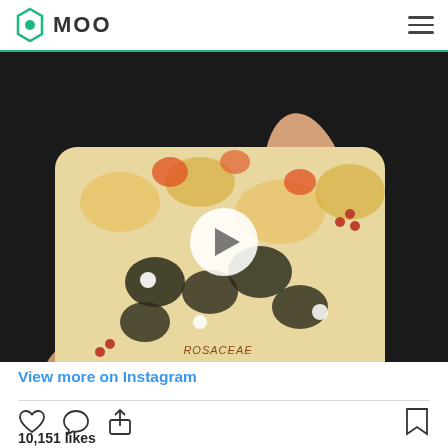MOO
[Figure (photo): A hand holding a floral illustrated business card with 'ROSACEAE PRUNUS AVIUM' text, with a play button overlay indicating a video. The card features yellow, orange, black and white floral botanical illustrations.]
View more on Instagram
10,151 likes